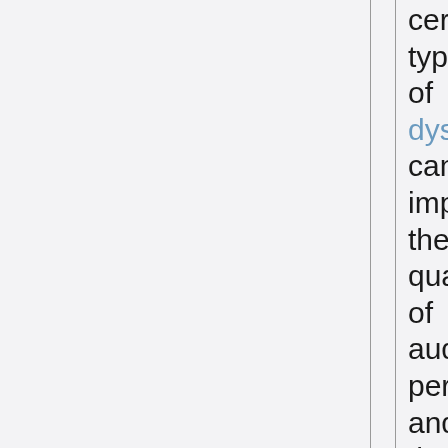certain types of dyslexia can impede the quality of auditory perception, and therefore, expression. Hearing impairment